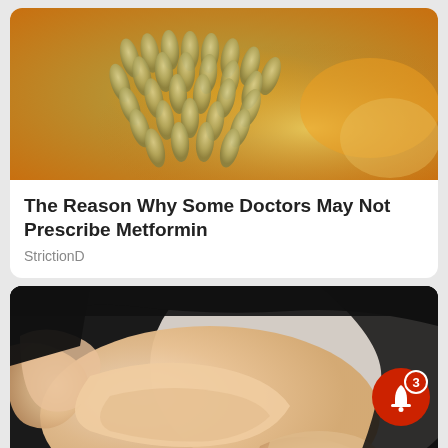[Figure (photo): Close-up photo of seeds/grains with orange and green tones, resembling pumpkin or melon seeds]
The Reason Why Some Doctors May Not Prescribe Metformin
StrictionD
[Figure (photo): Photo of a person in a black shirt pinching belly/abdominal fat with both hands against a light background]